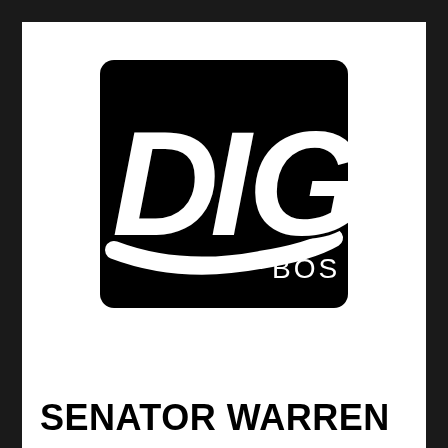[Figure (logo): DIG BOS logo — black square with large bold italic white letters 'DIG' and smaller white text 'BOS' at lower right, with swoosh/underlining design element]
SENATOR WARREN